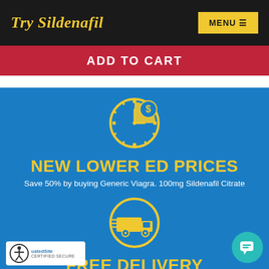Try Sildenafil
MENU
ADD TO CART
[Figure (illustration): Yellow clock icon with a dollar sign on a blue background]
NEW LOWER ED PRICES
Save 50% by buying Generic Viagra. 100mg Sildenafil Citrate
[Figure (illustration): Yellow delivery truck icon inside a circle on a blue background]
FREE DELIVERY
macy ships right to your door. FedEx, USPS, N... and Saturday delivery also available
[Figure (logo): TrustedSite Certified Secure badge with accessibility icon]
[Figure (illustration): Teal chat bubble button in bottom right corner]